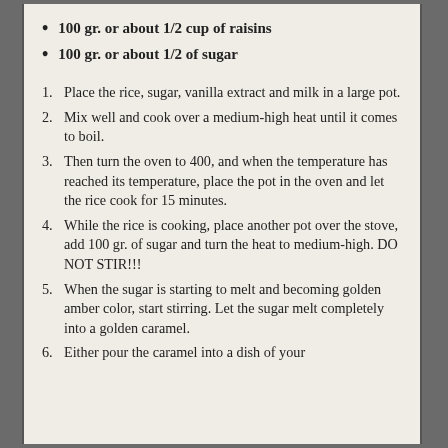100 gr. or about 1/2 cup of raisins
100 gr. or about 1/2 of sugar
1. Place the rice, sugar, vanilla extract and milk in a large pot.
2. Mix well and cook over a medium-high heat until it comes to boil.
3. Then turn the oven to 400, and when the temperature has reached its temperature, place the pot in the oven and let the rice cook for 15 minutes.
4. While the rice is cooking, place another pot over the stove, add 100 gr. of sugar and turn the heat to medium-high. DO NOT STIR!!!
5. When the sugar is starting to melt and becoming golden amber color, start stirring. Let the sugar melt completely into a golden caramel.
6. Either pour the caramel into a dish of your